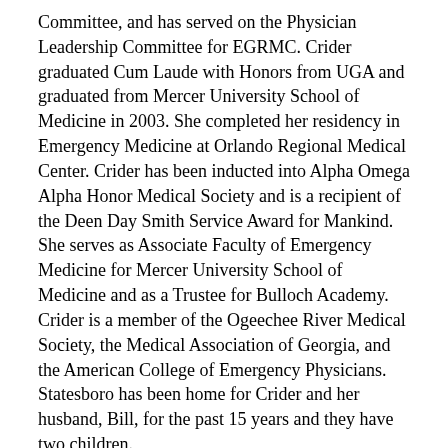Committee, and has served on the Physician Leadership Committee for EGRMC. Crider graduated Cum Laude with Honors from UGA and graduated from Mercer University School of Medicine in 2003. She completed her residency in Emergency Medicine at Orlando Regional Medical Center. Crider has been inducted into Alpha Omega Alpha Honor Medical Society and is a recipient of the Deen Day Smith Service Award for Mankind. She serves as Associate Faculty of Emergency Medicine for Mercer University School of Medicine and as a Trustee for Bulloch Academy. Crider is a member of the Ogeechee River Medical Society, the Medical Association of Georgia, and the American College of Emergency Physicians. Statesboro has been home for Crider and her husband, Bill, for the past 15 years and they have two children.
Kathryn Cheek is a pediatric physician and Clinical Associate Professor at Mercer University's School of Medicine. Cheek attended the University of North Carolina for her bachelor's degree, she went on to earn her graduate degree in Health Education and